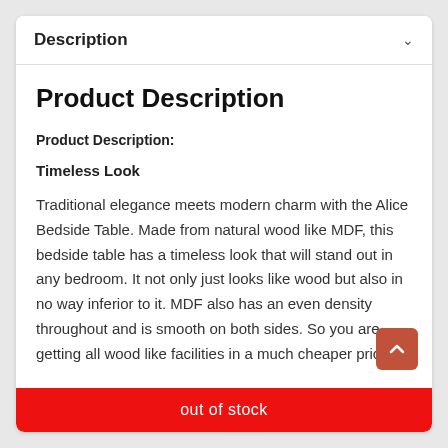Description
Product Description
Product Description:
Timeless Look
Traditional elegance meets modern charm with the Alice Bedside Table. Made from natural wood like MDF, this bedside table has a timeless look that will stand out in any bedroom. It not only just looks like wood but also in no way inferior to it. MDF also has an even density throughout and is smooth on both sides. So you are getting all wood like facilities in a much cheaper price.
out of stock